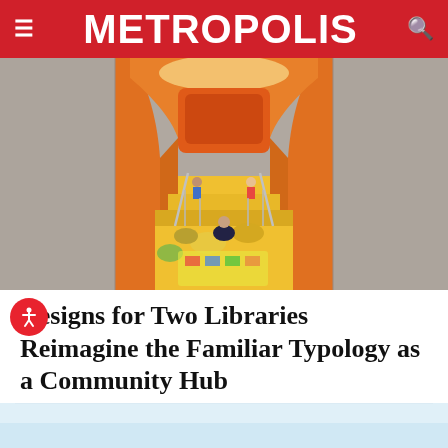METROPOLIS
[Figure (photo): Interior of a library children's area with orange curved architectural archway, yellow stepped platform seating, colorful bean bag seats, and children playing and reading]
Designs for Two Libraries Reimagine the Familiar Typology as a Community Hub
[Figure (photo): Partial view of a second library image with light blue sky visible at bottom of page]